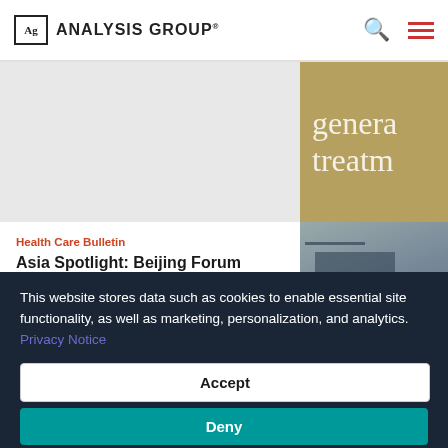ANALYSIS GROUP
[Figure (other): Gray background top-left content block]
[Figure (other): Gold/tan background block with partial text 'genera' and 'treatm']
Health Care Bulletin
Asia Spotlight: Beijing Forum
Analysis Group helped organize a conference with more than 100
[Figure (photo): Dark photo of building/construction crane silhouette]
This website stores data such as cookies to enable essential site functionality, as well as marketing, personalization, and analytics. Privacy Notice
Accept
Deny